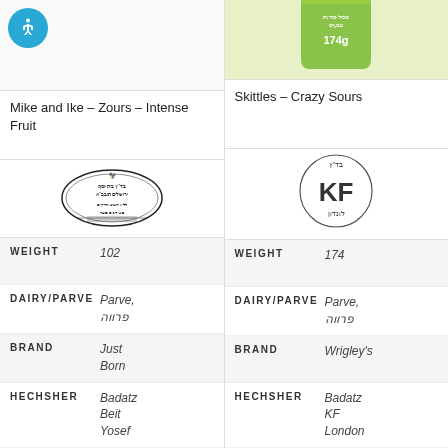[Figure (other): Accessibility icon - blue circle with white person figure]
Mike and Ike – Zours – Intense Fruit
Skittles – Crazy Sours
[Figure (logo): Badatz Beit Yosef kosher certification logo - oval stamp with Hebrew text]
[Figure (logo): Badatz KF London kosher certification logo - circle with KF text and Hebrew]
| Label | Value |
| --- | --- |
| WEIGHT | 102 |
| DAIRY/PARVE | Parve, פרווה |
| BRAND | Just Born |
| HECHSHER | Badatz Beit Yosef |
| Label | Value |
| --- | --- |
| WEIGHT | 174 |
| DAIRY/PARVE | Parve, פרווה |
| BRAND | Wrigley's |
| HECHSHER | Badatz KF London |